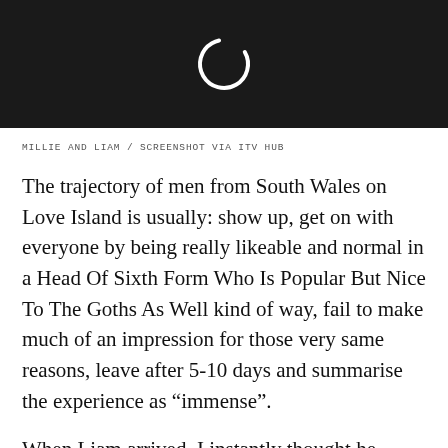[Figure (logo): Dark header bar with a white circular spinner/loading icon (letter C shape) centered on a near-black background]
MILLIE AND LIAM / SCREENSHOT VIA ITV HUB
The trajectory of men from South Wales on Love Island is usually: show up, get on with everyone by being really likeable and normal in a Head Of Sixth Form Who Is Popular But Nice To The Goths As Well kind of way, fail to make much of an impression for those very same reasons, leave after 5-10 days and summarise the experience as “immense”.
When Liam arrived, I instantly thought he